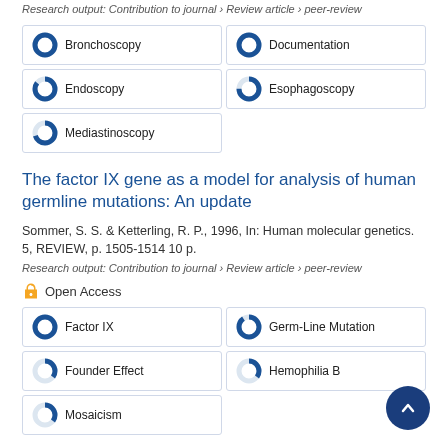Research output: Contribution to journal › Review article › peer-review
[Figure (infographic): Keyword boxes with donut chart icons: Bronchoscopy (100%), Documentation (100%), Endoscopy (~85%), Esophagoscopy (~75%), Mediastinoscopy (~70%)]
The factor IX gene as a model for analysis of human germline mutations: An update
Sommer, S. S. & Ketterling, R. P., 1996, In: Human molecular genetics. 5, REVIEW, p. 1505-1514 10 p.
Research output: Contribution to journal › Review article › peer-review
Open Access
[Figure (infographic): Keyword boxes with donut chart icons: Factor IX (100%), Germ-Line Mutation (~90%), Founder Effect (~35%), Hemophilia B (~35%), Mosaicism (~35%)]